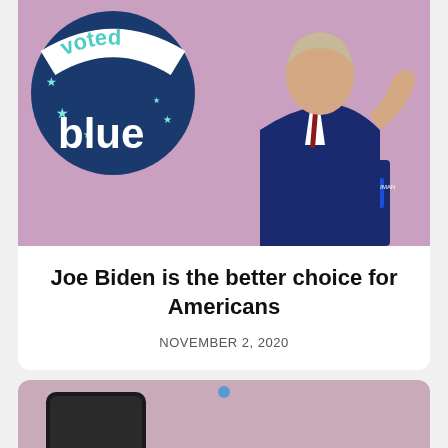[Figure (photo): Photo of Joe Biden speaking at a podium with a 'voted blue' sticker overlaid on the left. Pink/mauve background. Biden is wearing a dark suit and red tie, gesturing with one hand. A podium sign reads 'COLUMBUS, OH'.]
Joe Biden is the better choice for Americans
NOVEMBER 2, 2020
[Figure (photo): Partial view of a second article card with a pinkish-mauve background and a black smartphone shape visible at bottom left.]